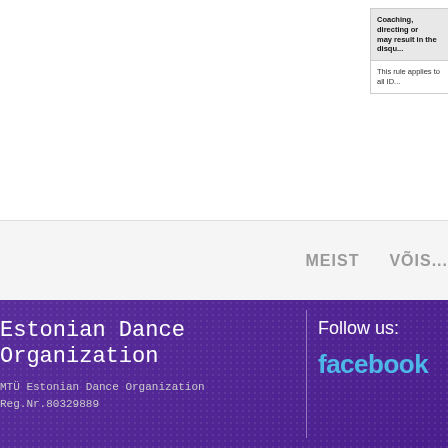| Coaching, directing or... may result in the disqu... |
| This rule applies to all ID... |
MEIST      VÕIS...
Estonian Dance Organization
MTÜ Estonian Dance Organization
Reg.Nr.80329889
Follow us:
facebook